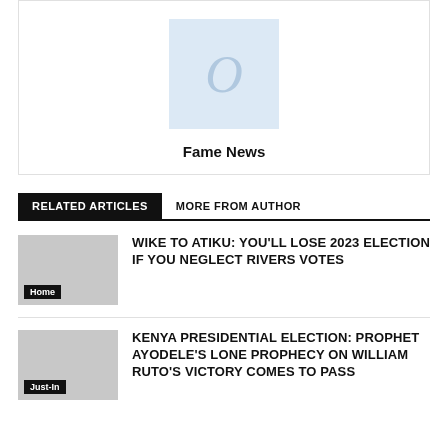[Figure (other): Author avatar box with letter O placeholder and Fame News label]
Fame News
RELATED ARTICLES   MORE FROM AUTHOR
WIKE TO ATIKU: YOU'LL LOSE 2023 ELECTION IF YOU NEGLECT RIVERS VOTES
KENYA PRESIDENTIAL ELECTION: PROPHET AYODELE'S LONE PROPHECY ON WILLIAM RUTO'S VICTORY COMES TO PASS